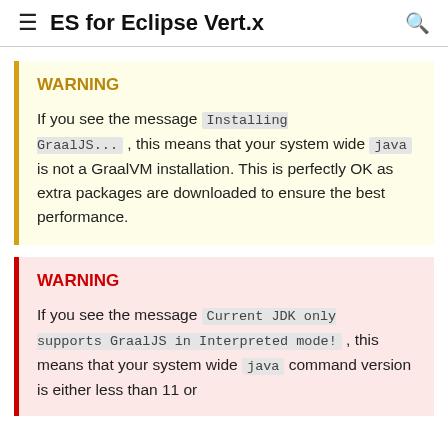ES for Eclipse Vert.x
WARNING
If you see the message Installing GraalJS... , this means that your system wide java is not a GraalVM installation. This is perfectly OK as extra packages are downloaded to ensure the best performance.
WARNING
If you see the message Current JDK only supports GraalJS in Interpreted mode! , this means that your system wide java command version is either less than 11 or